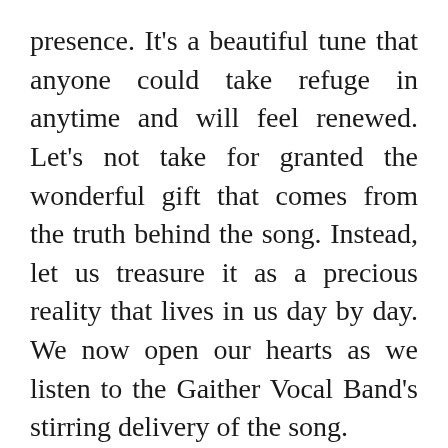presence. It's a beautiful tune that anyone could take refuge in anytime and will feel renewed. Let's not take for granted the wonderful gift that comes from the truth behind the song. Instead, let us treasure it as a precious reality that lives in us day by day. We now open our hearts as we listen to the Gaither Vocal Band's stirring delivery of the song.
[Figure (screenshot): Embedded YouTube video player showing 'Gaither Vocal Band - He Is Here (Li...' with black header bar, teal G icon, three-dot menu, and a video thumbnail showing a person's face. A reCAPTCHA badge appears in the bottom-right corner.]